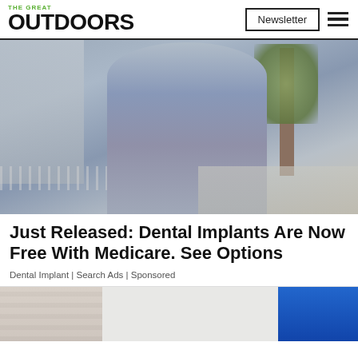THE GREAT OUTDOORS | Newsletter
[Figure (photo): Woman in grey dress standing outdoors on a street with trees and buildings in background]
Just Released: Dental Implants Are Now Free With Medicare. See Options
Dental Implant | Search Ads | Sponsored
[Figure (photo): Partial view of a second advertisement image showing brick wall and blue background]